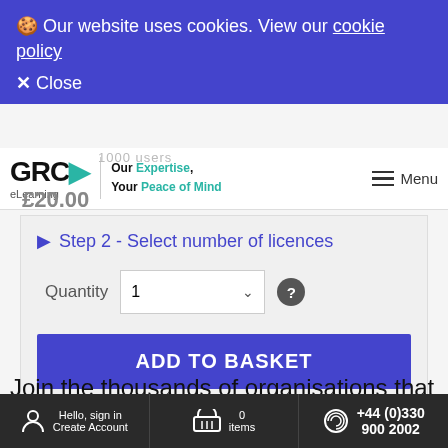🍪 Our website uses cookies. View our cookie policy
✕ Close
[Figure (logo): GRC eLearning logo with play button icon and tagline 'Our Expertise, Your Peace of Mind']
1000 users
£20.00
▶ Step 2 - Select number of licences
Quantity  1  ?
ADD TO BASKET
Join the thousands of organisations that are already using our e-learning courses
Hello, sign in Create Account   0 items   +44 (0)330 900 2002